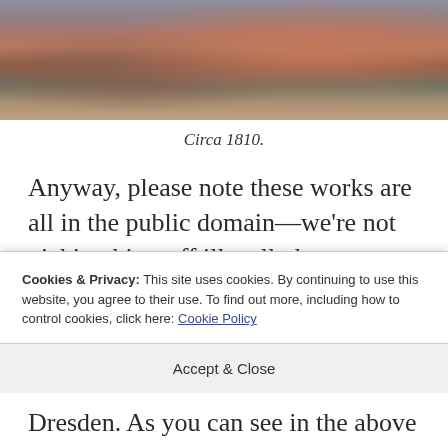[Figure (photo): Photograph of rocky canyon landscape with reddish-brown rock formations and cloudy sky, circa 1810]
Circa 1810.
Anyway, please note these works are all in the public domain—we're not nicking his stuff illegally here.
We'd like to think he'd be happy, heading for 200 years after his death, we're here
Cookies & Privacy: This site uses cookies. By continuing to use this website, you agree to their use. To find out more, including how to control cookies, click here: Cookie Policy
Accept & Close
Dresden. As you can see in the above